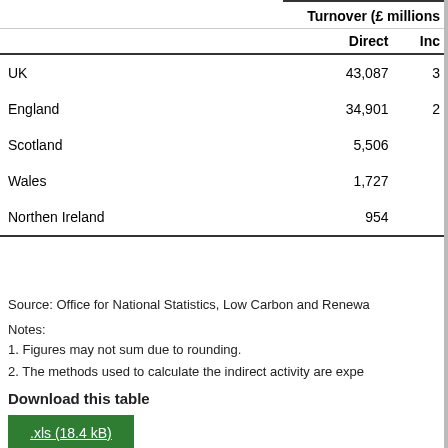|  | Turnover (£ millions |  |
| --- | --- | --- |
|  | Direct | Ind |
| UK | 43,087 | 3 |
| England | 34,901 | 2 |
| Scotland | 5,506 |  |
| Wales | 1,727 |  |
| Northen Ireland | 954 |  |
Source: Office for National Statistics, Low Carbon and Renewa
Notes:
1. Figures may not sum due to rounding.
2. The methods used to calculate the indirect activity are expe
Download this table
.xls (18.4 kB)